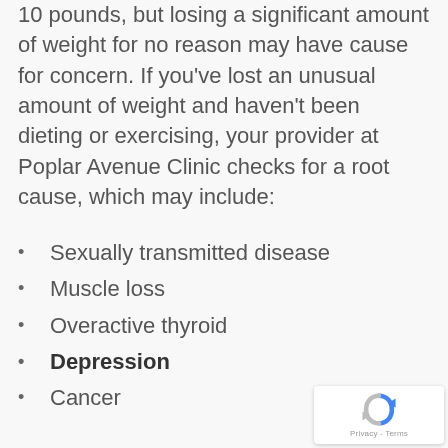10 pounds, but losing a significant amount of weight for no reason may have cause for concern. If you've lost an unusual amount of weight and haven't been dieting or exercising, your provider at Poplar Avenue Clinic checks for a root cause, which may include:
Sexually transmitted disease
Muscle loss
Overactive thyroid
Depression
Cancer